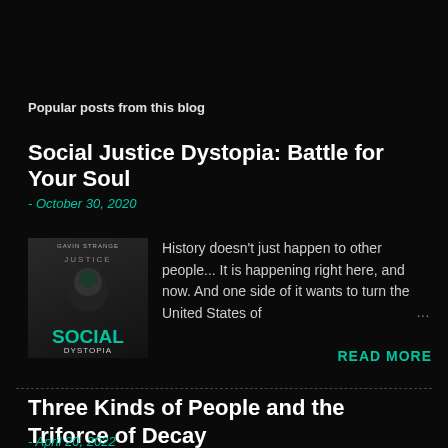Popular posts from this blog
Social Justice Dystopia: Battle for Your Soul
- October 30, 2020
[Figure (photo): Book cover for 'Social Justice Dystopia' by Gavin Strange, showing a dark cover with the word SOCIAL in large teal letters and DYSTOPIA below it.]
History doesn’t just happen to other people... It is happening right here, and now. And one side of it wants to turn the United States of
READ MORE
Three Kinds of People and the Triforce of Decay
- April 20, 2022